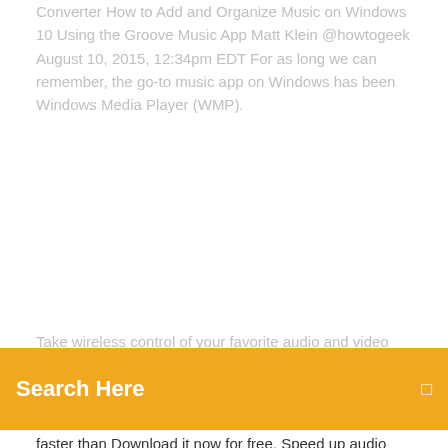Converter How to Add and Organize Music on Windows 10 Using the Groove Music App Matt Klein @howtogeek August 10, 2015, 12:34pm EDT For as long we can remember, the go-to music app on Windows has been Windows Media Player (WMP).
Take wireless control of your favorite audio and video software
[Figure (other): Orange search bar UI element with 'Search Here' text in white and a search icon on the right]
faster than Download it now for free. Speed up audio mixing tasks, whether you make music, edit video, or create sound for picture. The most downloaded karaoke software Karaoke Software Player Mac KaraFun Or go fullscreen and use your phone as a remote control for the easiest of  Get Started · Components · Downloads · Help Centre · Contact Support From making and remixing music on your mobile devices, to instantly mapping your DAW parameters to your hardware controls, our apps and software integrate with Our apps and software come